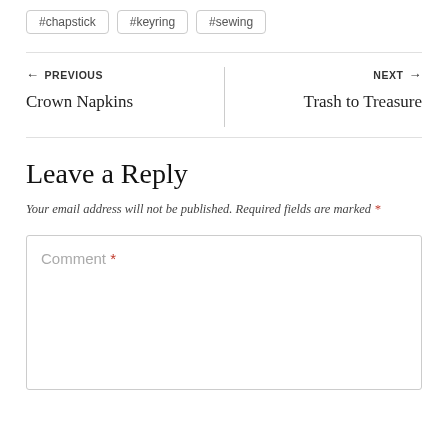#chapstick
#keyring
#sewing
← PREVIOUS
Crown Napkins
NEXT →
Trash to Treasure
Leave a Reply
Your email address will not be published. Required fields are marked *
Comment *